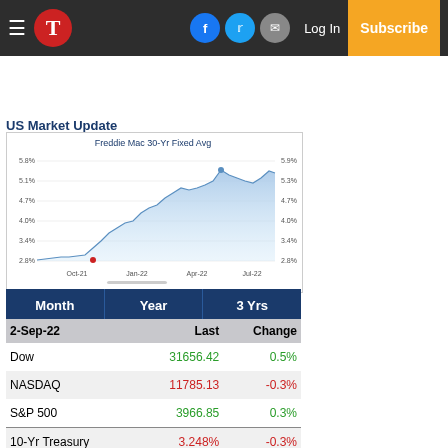T | Log In | Subscribe (navigation bar with Facebook, Twitter, Mail icons)
US Market Update
[Figure (area-chart): Freddie Mac 30-Yr Fixed Avg]
| 2-Sep-22 | Last | Change |
| --- | --- | --- |
| Dow | 31656.42 | 0.5% |
| NASDAQ | 11785.13 | -0.3% |
| S&P 500 | 3966.85 | 0.3% |
| 10-Yr Treasury | 3.248% | -0.3% |